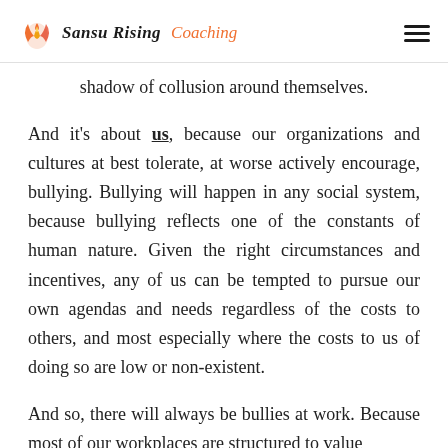Sansu Rising Coaching
shadow of collusion around themselves.
And it's about us, because our organizations and cultures at best tolerate, at worse actively encourage, bullying. Bullying will happen in any social system, because bullying reflects one of the constants of human nature. Given the right circumstances and incentives, any of us can be tempted to pursue our own agendas and needs regardless of the costs to others, and most especially where the costs to us of doing so are low or non-existent.
And so, there will always be bullies at work. Because most of our workplaces are structured to value